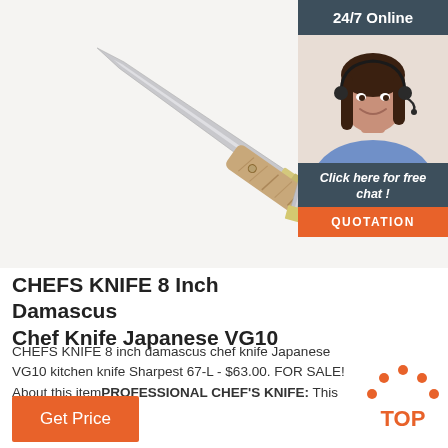[Figure (photo): A folding pocket knife with stag/bone handle and multiple blades open, displayed on white background]
[Figure (photo): 24/7 Online chat widget showing a smiling woman with headset, dark blue header with '24/7 Online' text, 'Click here for free chat!' and orange QUOTATION button]
CHEFS KNIFE 8 Inch Damascus Chef Knife Japanese VG10
CHEFS KNIFE 8 inch damascus chef knife Japanese VG10 kitchen knife Sharpest 67-L - $63.00. FOR SALE! About this itemPROFESSIONAL CHEF'S KNIFE: This chef's knife is …
[Figure (logo): TOP badge with orange dots arranged in arc shape and 'TOP' text in orange]
Get Price